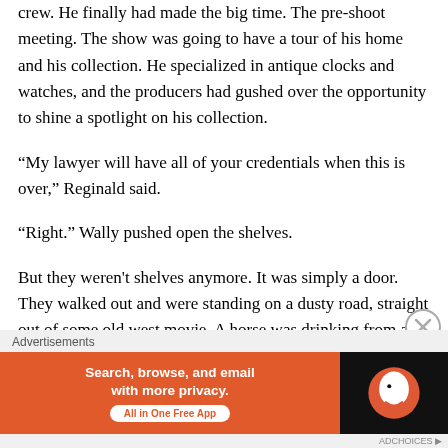crew. He finally had made the big time. The pre-shoot meeting. The show was going to have a tour of his home and his collection. He specialized in antique clocks and watches, and the producers had gushed over the opportunity to shine a spotlight on his collection.
“My lawyer will have all of your credentials when this is over,” Reginald said.
“Right.” Wally pushed open the shelves.
But they weren't shelves anymore. It was simply a door. They walked out and were standing on a dusty road, straight out of some old west movie. A horse was drinking from a wooden trough outside First City Bank. A saloon
Advertisements
[Figure (other): DuckDuckGo advertisement banner: orange left panel with text 'Search, browse, and email with more privacy. All in One Free App' and white button, black right panel with DuckDuckGo logo]